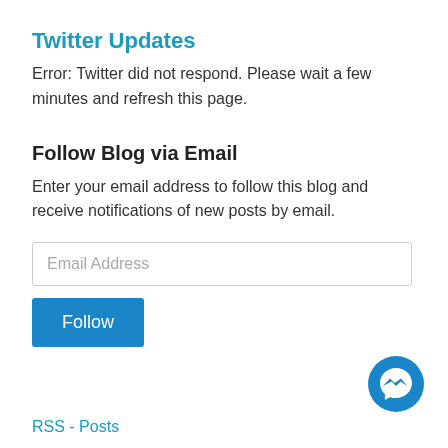Twitter Updates
Error: Twitter did not respond. Please wait a few minutes and refresh this page.
Follow Blog via Email
Enter your email address to follow this blog and receive notifications of new posts by email.
[Figure (screenshot): Email address input field with placeholder text 'Email Address' and a Follow button below it]
[Figure (logo): Facebook Messenger icon — blue circle with white lightning bolt/chat symbol]
RSS - Posts